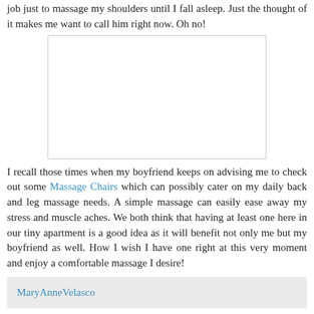job just to massage my shoulders until I fall asleep. Just the thought of it makes me want to call him right now. Oh no!
[Figure (other): White rectangular image placeholder with light gray border]
I recall those times when my boyfriend keeps on advising me to check out some Massage Chairs which can possibly cater on my daily back and leg massage needs. A simple massage can easily ease away my stress and muscle aches. We both think that having at least one here in our tiny apartment is a good idea as it will benefit not only me but my boyfriend as well. How I wish I have one right at this very moment and enjoy a comfortable massage I desire!
MaryAnneVelasco
3 comments:
Bailey  18 August 2009 at 16:23